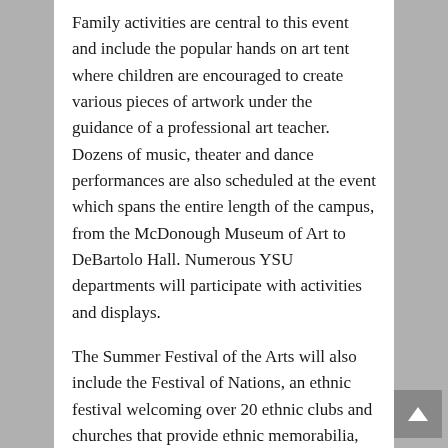Family activities are central to this event and include the popular hands on art tent where children are encouraged to create various pieces of artwork under the guidance of a professional art teacher. Dozens of music, theater and dance performances are also scheduled at the event which spans the entire length of the campus, from the McDonough Museum of Art to DeBartolo Hall. Numerous YSU departments will participate with activities and displays.
The Summer Festival of the Arts will also include the Festival of Nations, an ethnic festival welcoming over 20 ethnic clubs and churches that provide ethnic memorabilia, performances and food. Many local arts and cultural groups will also provide open hours and activities at their off-campus locations. Admission is free.
For the sixth year, a Jazz concert will occur in D...